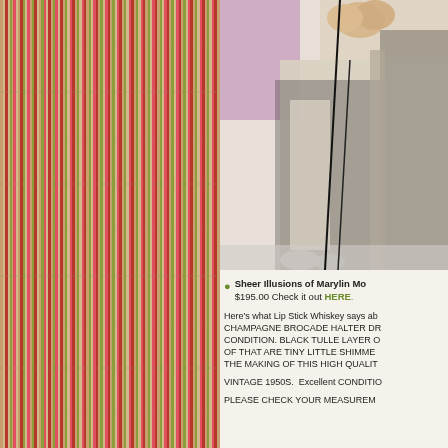[Figure (photo): Colorful vertical striped fabric pattern in red, green, pink, and beige tones]
[Figure (photo): Photo of a vintage champagne brocade halter dress with black tulle layer, displayed on a hanger with flowers in background]
Sheer Illusions of Marylin Mo... $195.00 Check it out HERE.
Here's what Lip Stick Whiskey says ab... CHAMPAGNE BROCADE HALTER DR... CONDITION. BLACK TULLE LAYER O... OF THAT ARE TINY LITTLE SHIMME... THE MAKING OF THIS HIGH QUALIT...
VINTAGE 1950S.  Excellent CONDITI...
PLEASE CHECK YOUR MEASUREM...